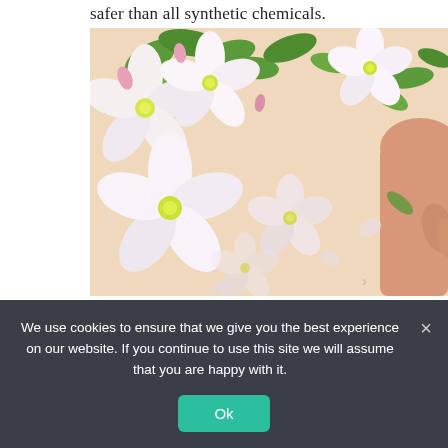safer than all synthetic chemicals.
[Figure (photo): Close-up photo of white and pink apple blossoms with green leaves on a soft peach/cream background, with a partial view of a woman's shoulder/hand on the right edge.]
Look for makeup lines that are made
...
We use cookies to ensure that we give you the best experience on our website. If you continue to use this site we will assume that you are happy with it.